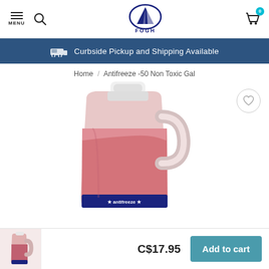MENU | Search | FOGH Logo | Cart (0)
Curbside Pickup and Shipping Available
Home / Antifreeze -50 Non Toxic Gal
[Figure (photo): A gallon jug of pink/red antifreeze liquid with a white cap and handle, partly filled, with a dark blue label at the bottom.]
C$17.95
Add to cart